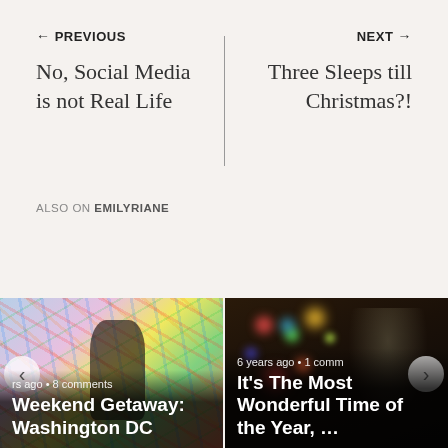← PREVIOUS
No, Social Media is not Real Life
NEXT →
Three Sleeps till Christmas?!
ALSO ON EMILYRIANE
[Figure (photo): Young woman smiling in front of a colorful graffiti wall with hearts. Card overlay: 'rs ago • 8 comments' and 'Weekend Getaway: Washington DC']
[Figure (photo): Blurred bokeh photo of a Christmas tree with colored lights. Card overlay: '6 years ago • 1 comm' and 'It's The Most Wonderful Time of the Year, ...']